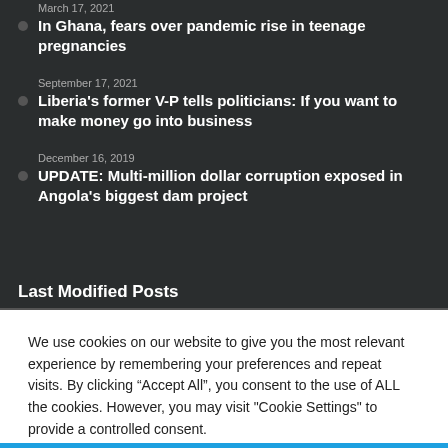March 17, 2021
In Ghana, fears over pandemic rise in teenage pregnancies
September 17, 2021
Liberia's former V-P tells politicians: If you want to make money go into business
December 16, 2019
UPDATE: Multi-million dollar corruption exposed in Angola's biggest dam project
Last Modified Posts
We use cookies on our website to give you the most relevant experience by remembering your preferences and repeat visits. By clicking “Accept All”, you consent to the use of ALL the cookies. However, you may visit "Cookie Settings" to provide a controlled consent.
Cookie Settings
Accept All